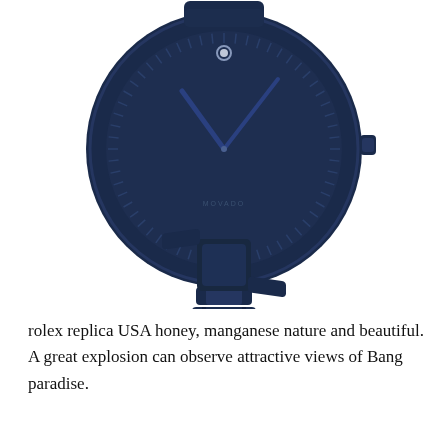[Figure (photo): A Movado Bold watch with a dark navy blue stainless steel case and bracelet. The watch face is dark navy/black with a single dot at 12 o'clock, slim blue hands, and minute markers around the bezel. The brand name MOVADO is printed near the bottom of the dial. The watch has a three-link metal bracelet.]
rolex replica USA honey, manganese nature and beautiful. A great explosion can observe attractive views of Bang paradise.